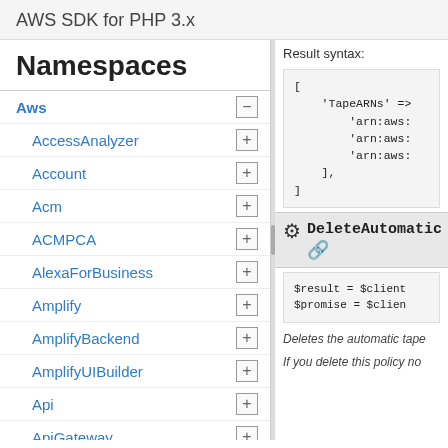AWS SDK for PHP 3.x
Namespaces
Aws
AccessAnalyzer
Account
Acm
ACMPCA
AlexaForBusiness
Amplify
AmplifyBackend
AmplifyUIBuilder
Api
ApiGateway
ApiGatewayManagementApi
Result syntax:
[Figure (screenshot): Code block showing PHP array result syntax with TapeARNs key and arn:aws: values]
DeleteAutomatic
[Figure (screenshot): Code block showing $result = $client and $promise = $clien]
Deletes the automatic tape
If you delete this policy no